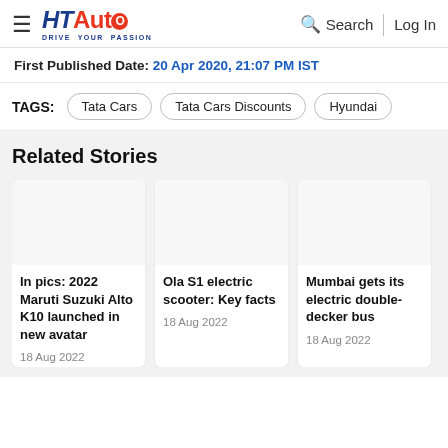HT Auto — Drive Your Passion | Search | Log In
First Published Date: 20 Apr 2020, 21:07 PM IST
TAGS: Tata Cars | Tata Cars Discounts | Hyundai
Related Stories
In pics: 2022 Maruti Suzuki Alto K10 launched in new avatar
18 Aug 2022
Ola S1 electric scooter: Key facts
18 Aug 2022
Mumbai gets its electric double-decker bus
18 Aug 2022